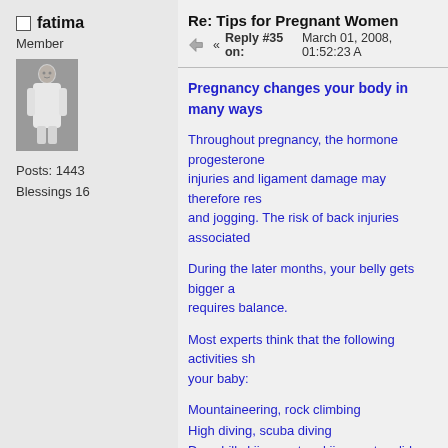fatima
Member
[Figure (photo): Profile avatar photo of a person in white clothing, black and white image]
Posts: 1443
Blessings 16
Re: Tips for Pregnant Women « Reply #35 on: March 01, 2008, 01:52:23 A
Pregnancy changes your body in many ways
Throughout pregnancy, the hormone progesterone... injuries and ligament damage may therefore res... and jogging. The risk of back injuries associated...
During the later months, your belly gets bigger a... requires balance.
Most experts think that the following activities sh... your baby:
Mountaineering, rock climbing
High diving, scuba diving
Downhill skiing, water skiing, water slides
Trampolining, gymnastics
Anaerobic exercise such as sprinting
Contact sports, competitive team sports